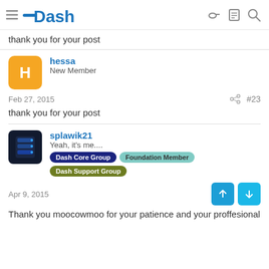Dash
thank you for your post
hessa
New Member
Feb 27, 2015
#23
thank you for your post
splawik21
Yeah, it's me.... Dash Core Group  Foundation Member  Dash Support Group
Apr 9, 2015
Thank you moocowmoo for your patience and your proffesional